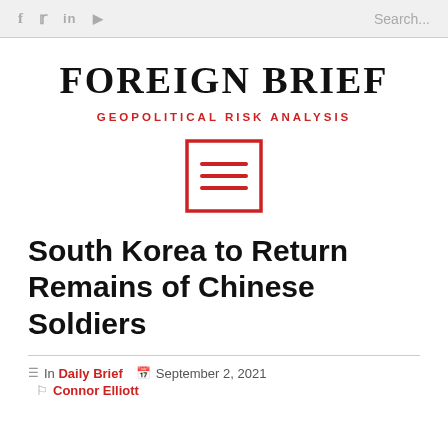f  in  Search...
FOREIGN BRIEF
GEOPOLITICAL RISK ANALYSIS
[Figure (illustration): Red square border with three horizontal red lines inside, representing a menu/hamburger icon in a box]
South Korea to Return Remains of Chinese Soldiers
In Daily Brief  September 2, 2021
Connor Elliott